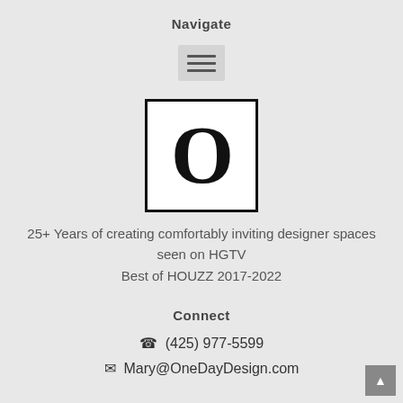Navigate
[Figure (other): Hamburger menu icon (three horizontal lines) on a light gray background]
[Figure (logo): Square logo with bold serif letter O inside a black border on white background]
25+ Years of creating comfortably inviting designer spaces seen on HGTV
Best of HOUZZ 2017-2022
Connect
☎ (425) 977-5599
✉ Mary@OneDayDesign.com